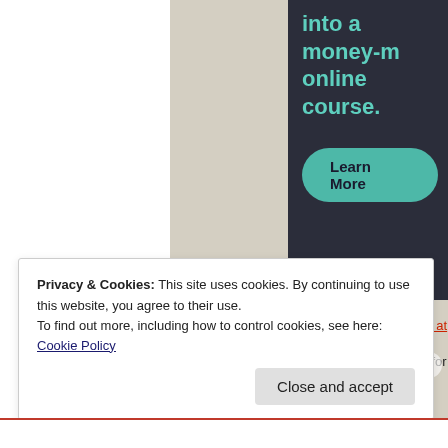[Figure (screenshot): Advertisement banner with dark background showing text 'into a money-making online course.' in teal color with a teal 'Learn More' rounded button]
Rhi on January 21, 2016 at 1:2... Loved Ryker! Can't wait for yo... were more Powers brothers. C...
Privacy & Cookies: This site uses cookies. By continuing to use this website, you agree to their use.
To find out more, including how to control cookies, see here:
Cookie Policy
Close and accept